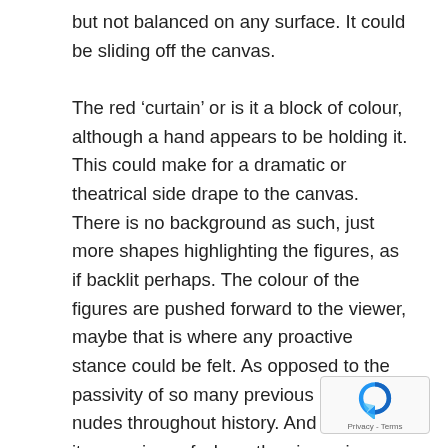but not balanced on any surface. It could be sliding off the canvas.

The red ‘curtain’ or is it a block of colour, although a hand appears to be holding it. This could make for a dramatic or theatrical side drape to the canvas. There is no background as such, just more shapes highlighting the figures, as if backlit perhaps. The colour of the figures are pushed forward to the viewer, maybe that is where any proactive stance could be felt. As opposed to the passivity of so many previous reclining nudes throughout history. And looking at it as a mirror of where the viewer is stood, changing that to looking downward.  You could see the surround to the figures as sharp angular shapes of fabric, a bed maybe.
[Figure (logo): reCAPTCHA badge with blue arrow logo and Privacy - Terms text]